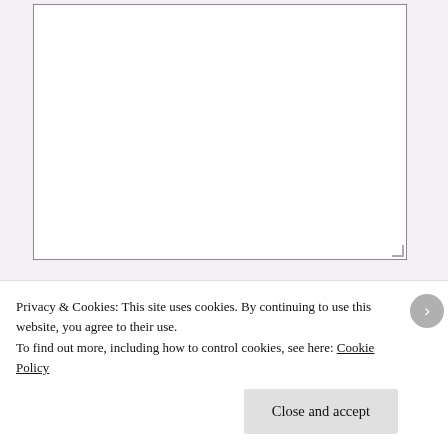[Figure (screenshot): A large empty textarea input field with a resize handle at the bottom right corner, part of a web comment form.]
NAME *
EMAIL *
Privacy & Cookies: This site uses cookies. By continuing to use this website, you agree to their use.
To find out more, including how to control cookies, see here: Cookie Policy
Close and accept